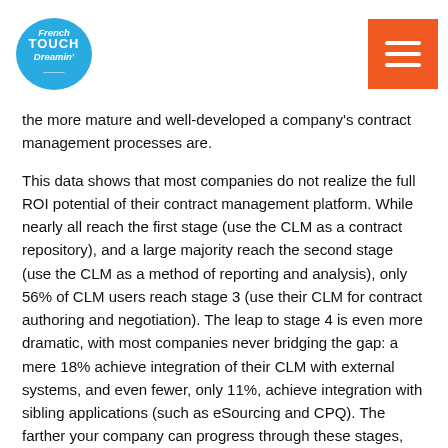French Touch Dreamin' [logo] + hamburger menu
the more mature and well-developed a company's contract management processes are.
This data shows that most companies do not realize the full ROI potential of their contract management platform. While nearly all reach the first stage (use the CLM as a contract repository), and a large majority reach the second stage (use the CLM as a method of reporting and analysis), only 56% of CLM users reach stage 3 (use their CLM for contract authoring and negotiation). The leap to stage 4 is even more dramatic, with most companies never bridging the gap: a mere 18% achieve integration of their CLM with external systems, and even fewer, only 11%, achieve integration with sibling applications (such as eSourcing and CPQ). The farther your company can progress through these stages, the greater the value realization it will have from its contract management solution.